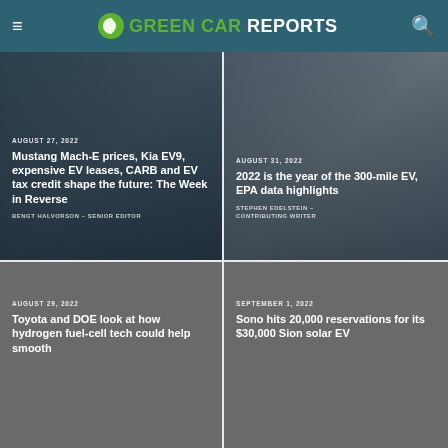GREEN CAR REPORTS
AUGUST 27, 2022
Mustang Mach-E prices, Kia EV9, expensive EV leases, CARB and EV tax credit shape the future: The Week in Reverse
BENGT HALVORSON – SENIOR EDITOR
AUGUST 31, 2022
2022 is the year of the 300-mile EV, EPA data highlights
STEPHEN EDELSTEIN – CONTRIBUTING WRITER
AUGUST 29, 2022
Toyota and DOE look at how hydrogen fuel-cell tech could help smooth
SEPTEMBER 1, 2022
Sono hits 20,000 reservations for its $30,000 Sion solar EV